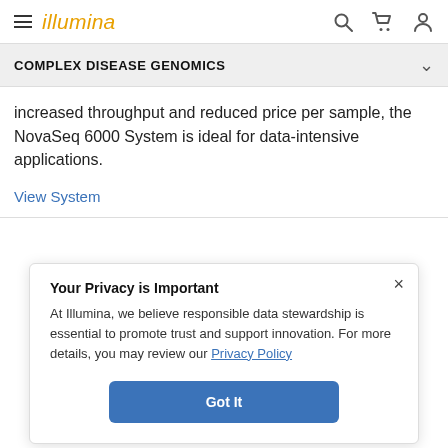illumina
COMPLEX DISEASE GENOMICS
increased throughput and reduced price per sample, the NovaSeq 6000 System is ideal for data-intensive applications.
View System
Your Privacy is Important
At Illumina, we believe responsible data stewardship is essential to promote trust and support innovation. For more details, you may review our Privacy Policy
Got It